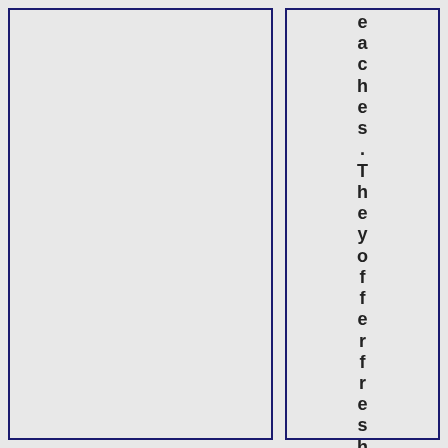eaches. They offer fresh air. calm a